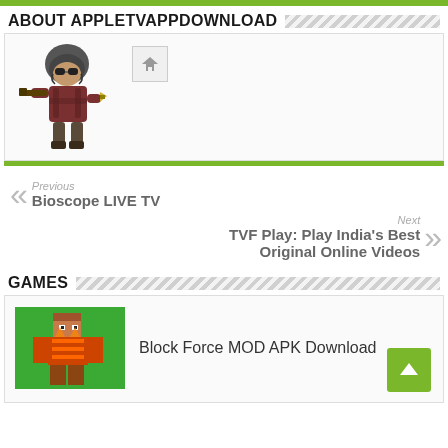ABOUT APPLETVAPPDOWNLOAD
[Figure (illustration): Cartoon PUBG-style character holding a gun and knife, chibi style, wearing helmet and armor. Also a small home icon button.]
Previous
Bioscope LIVE TV
Next
TVF Play: Play India’s Best Original Online Videos
GAMES
Block Force MOD APK Download
[Figure (illustration): Block Force game thumbnail showing a pixel-art character on a green background.]